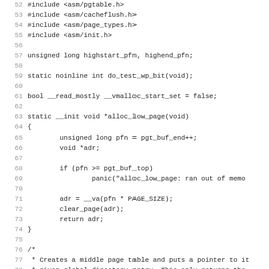Source code listing, lines 52-83, C language kernel code including includes, variable declarations, and function definitions for alloc_low_page and one_md_table_init